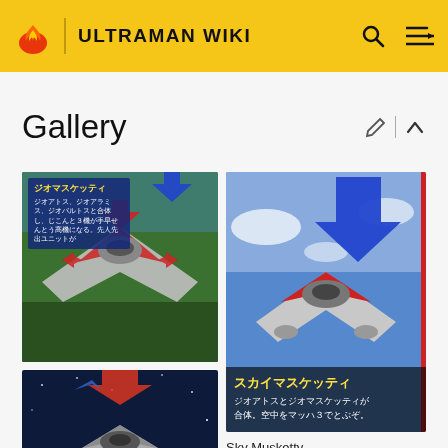ULTRAMAN WIKI
Gallery
[Figure (photo): Magazine scan showing Geo Musketty spacecraft toy/model with Japanese text overlay and red arrows, green background]
[Figure (photo): Magazine scan showing Sky Musketty spacecraft in sky with Japanese text: スカイマスケッティ - ジオアトスとジオマスケッティが合体。空中をマッハ３でとぶぞ。]
Sky Musketty
[Figure (photo): Magazine scan showing Space Musketty spacecraft on dark/space background with Japanese text: スペースマスケッティ、ジオアラミスとジオマスケッティ]
[Figure (photo): Magazine scan showing yellow vehicle/machine on rocky terrain background]